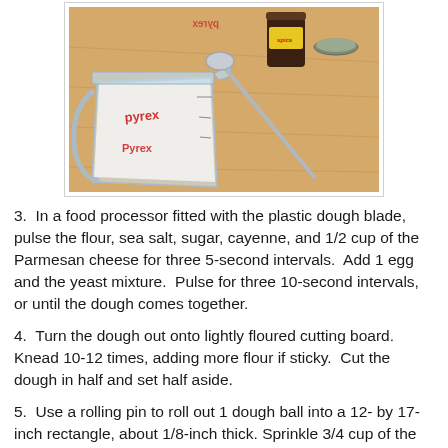[Figure (photo): A Pyrex glass measuring cup filled with white flour, alongside a small dark glass spice jar with a yellow label, its metal lid placed separately, and a metal measuring spoon, all resting on a wooden cutting board surface.]
3.  In a food processor fitted with the plastic dough blade, pulse the flour, sea salt, sugar, cayenne, and 1/2 cup of the Parmesan cheese for three 5-second intervals.  Add 1 egg and the yeast mixture.  Pulse for three 10-second intervals, or until the dough comes together.
4.  Turn the dough out onto lightly floured cutting board.  Knead 10-12 times, adding more flour if sticky.  Cut the dough in half and set half aside.
5.  Use a rolling pin to roll out 1 dough ball into a 12- by 17-inch rectangle, about 1/8-inch thick. Sprinkle 3/4 cup of the pepper Jack in a strip down the middle (the short way).  Fold one-third of the dough over the cheese and sprinkle with